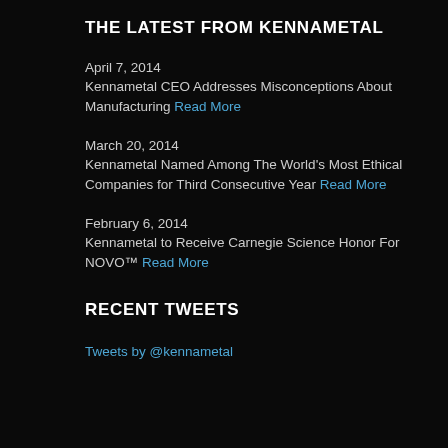THE LATEST FROM KENNAMETAL
April 7, 2014
Kennametal CEO Addresses Misconceptions About Manufacturing Read More
March 20, 2014
Kennametal Named Among The World's Most Ethical Companies for Third Consecutive Year Read More
February 6, 2014
Kennametal to Receive Carnegie Science Honor For NOVO™ Read More
RECENT TWEETS
Tweets by @kennametal